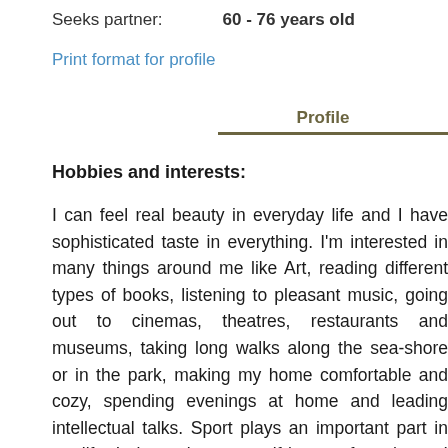Seeks partner:   60 - 76 years old
Print format for profile
Profile
Hobbies and interests:
I can feel real beauty in everyday life and I have sophisticated taste in everything. I'm interested in many things around me like Art, reading different types of books, listening to pleasant music, going out to cinemas, theatres, restaurants and museums, taking long walks along the sea-shore or in the park, making my home comfortable and cozy, spending evenings at home and leading intellectual talks. Sport plays an important part in my life. I always keep myself in a perfect shape. I like jogging in the morning and in the evening, swimming and training in the fitness club. Cooking delicious dishes is my passion. So if you...